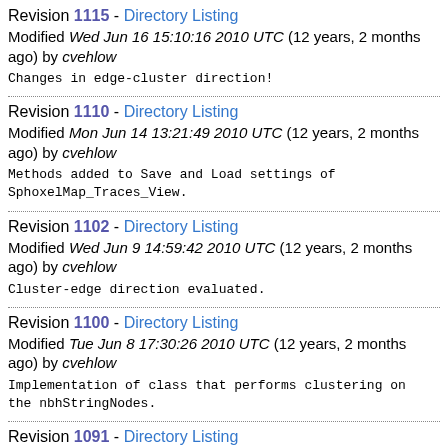Revision 1115 - Directory Listing
Modified Wed Jun 16 15:10:16 2010 UTC (12 years, 2 months ago) by cvehlow
Changes in edge-cluster direction!
Revision 1110 - Directory Listing
Modified Mon Jun 14 13:21:49 2010 UTC (12 years, 2 months ago) by cvehlow
Methods added to Save and Load settings of SphoxelMap_Traces_View.
Revision 1102 - Directory Listing
Modified Wed Jun 9 14:59:42 2010 UTC (12 years, 2 months ago) by cvehlow
Cluster-edge direction evaluated.
Revision 1100 - Directory Listing
Modified Tue Jun 8 17:30:26 2010 UTC (12 years, 2 months ago) by cvehlow
Implementation of class that performs clustering on the nbhStringNodes.
Revision 1091 - Directory Listing
Modified Tue Jun 1 15:56:12 2010 UTC (12 years, 2 months